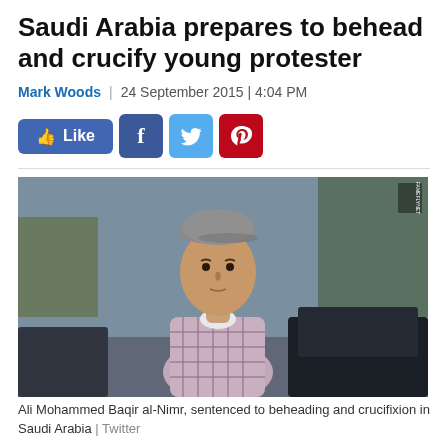Saudi Arabia prepares to behead and crucify young protester
Mark Woods | 24 September 2015 | 4:04 PM
[Figure (screenshot): Social media share buttons: Like, Facebook, Twitter, Pinterest]
[Figure (photo): Photo of Ali Mohammed Baqir al-Nimr, a young man wearing a plaid shirt and cap, standing outdoors near cars and trees.]
Ali Mohammed Baqir al-Nimr, sentenced to beheading and crucifixion in Saudi Arabia | Twitter